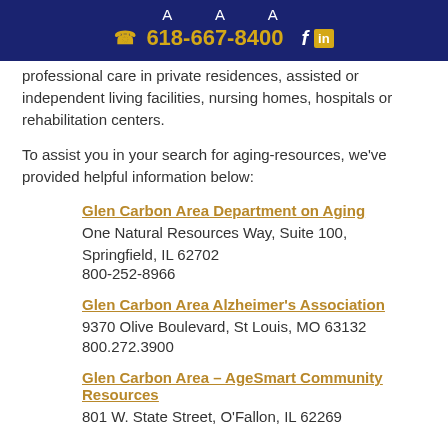A A A
☎ 618-667-8400  f  in
professional care in private residences, assisted or independent living facilities, nursing homes, hospitals or rehabilitation centers.
To assist you in your search for aging-resources, we've provided helpful information below:
Glen Carbon Area Department on Aging
One Natural Resources Way, Suite 100, Springfield, IL 62702
800-252-8966
Glen Carbon Area Alzheimer's Association
9370 Olive Boulevard, St Louis, MO 63132
800.272.3900
Glen Carbon Area – AgeSmart Community Resources
801 W. State Street, O'Fallon, IL 62269